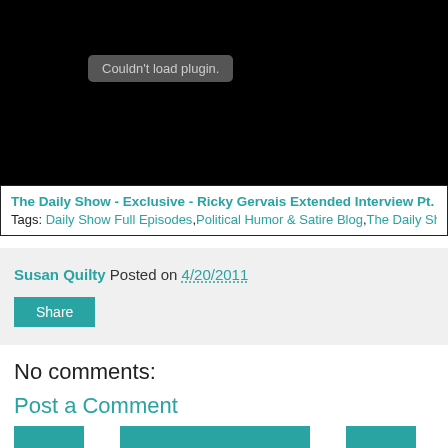[Figure (screenshot): Black video player area with 'Couldn't load plugin.' error message in a grey rounded rectangle]
The Daily Show - Exclusive - Ricky Gervais Extended Interview Pt. 2
Tags: Daily Show Full Episodes,Political Humor & Satire Blog,The Daily Show on
Susan Quilty Posted on 4/20/2011
Share
No comments:
Post a Comment